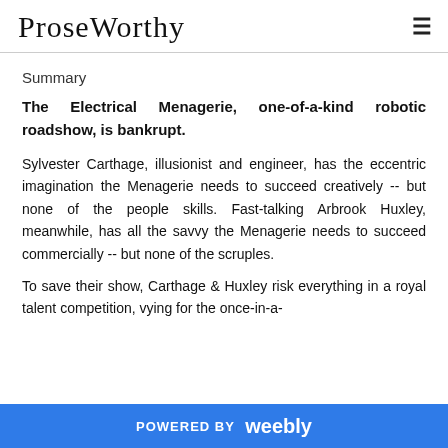ProseWorthy
Summary
The Electrical Menagerie, one-of-a-kind robotic roadshow, is bankrupt.
Sylvester Carthage, illusionist and engineer, has the eccentric imagination the Menagerie needs to succeed creatively -- but none of the people skills. Fast-talking Arbrook Huxley, meanwhile, has all the savvy the Menagerie needs to succeed commercially -- but none of the scruples.
To save their show, Carthage & Huxley risk everything in a royal talent competition, vying for the once-in-a-
POWERED BY weebly